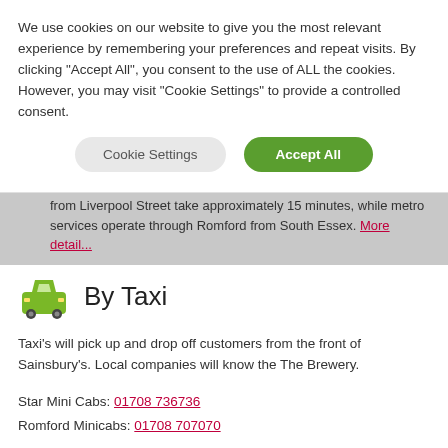We use cookies on our website to give you the most relevant experience by remembering your preferences and repeat visits. By clicking "Accept All", you consent to the use of ALL the cookies. However, you may visit "Cookie Settings" to provide a controlled consent.
Cookie Settings | Accept All
from Liverpool Street take approximately 15 minutes, while metro services operate through Romford from South Essex. More detail...
By Taxi
Taxi's will pick up and drop off customers from the front of Sainsbury's. Local companies will know the The Brewery.
Star Mini Cabs: 01708 736736
Romford Minicabs: 01708 707070